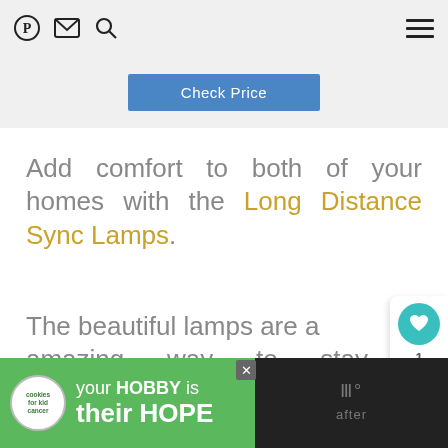Pinterest | Email | Search | (hamburger menu)
[Figure (screenshot): Check Price button in blue]
Add comfort to both of your homes with the Long Distance Sync Lamps.
The beautiful lamps are an amazing way to stay connected to each other, no matter the di[stance]
[Figure (infographic): Social sharing panel with teal heart button (1 share) and share icon]
[Figure (infographic): What's Next panel with thumbnail and text: 21 Unique Gifts For...]
[Figure (infographic): Bottom advertisement banner: cookies for kid cancer - your HOBBY is their HOPE]